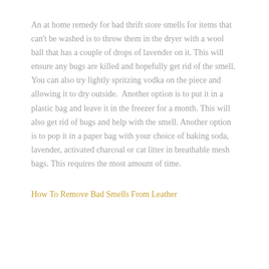An at home remedy for bad thrift store smells for items that can't be washed is to throw them in the dryer with a wool ball that has a couple of drops of lavender on it. This will ensure any bugs are killed and hopefully get rid of the smell.  You can also try lightly spritzing vodka on the piece and allowing it to dry outside.  Another option is to put it in a plastic bag and leave it in the freezer for a month. This will also get rid of bugs and help with the smell. Another option is to pop it in a paper bag with your choice of baking soda, lavender, activated charcoal or cat litter in breathable mesh bags. This requires the most amount of time.
How To Remove Bad Smells From Leather